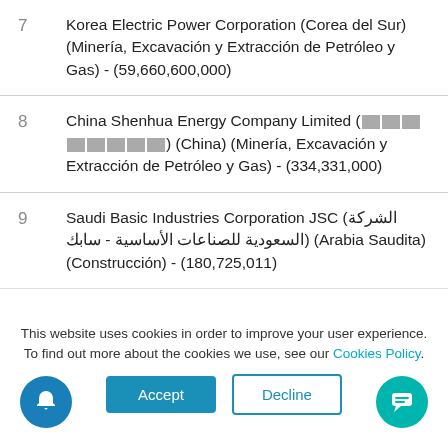7  Korea Electric Power Corporation (Corea del Sur) (Minería, Excavación y Extracción de Petróleo y Gas) - (59,660,600,000)
8  China Shenhua Energy Company Limited ([REDACTED]) (China) (Minería, Excavación y Extracción de Petróleo y Gas) - (334,331,000)
9  Saudi Basic Industries Corporation JSC (الشركة السعودية للصناعات الأساسية - سابك) (Arabia Saudita) (Construcción) - (180,725,011)
10  Aluminum Corporation Of China Limited ([REDACTED]) (China) (Construcción) -
This website uses cookies in order to improve your user experience. To find out more about the cookies we use, see our Cookies Policy.